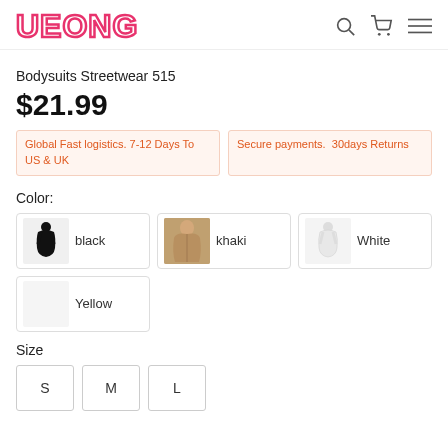UEONG
Bodysuits Streetwear 515
$21.99
Global Fast logistics. 7-12 Days To US & UK
Secure payments. 30days Returns
Color:
[Figure (photo): Black bodysuit thumbnail]
black
[Figure (photo): Khaki bodysuit worn by model]
khaki
[Figure (photo): White bodysuit thumbnail]
White
Yellow
Size
S
M
L